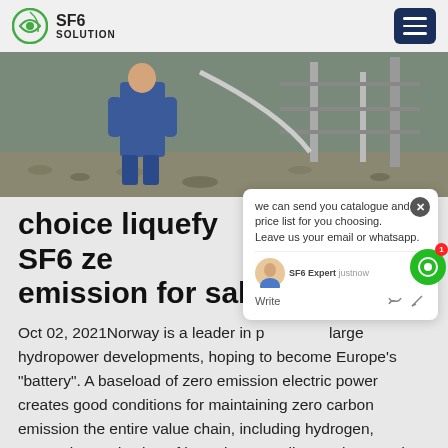SF6 SOLUTION
[Figure (photo): Worker in blue coveralls handling industrial equipment with cables and metal structures outdoors, gravel ground]
choice liquefy SF6 zero emission for sale
Oct 02, 2021Norway is a leader in promoting large hydropower developments, hoping to become Europe's "battery". A baseload of zero emission electric power creates good conditions for maintaining zero carbon emission the entire value chain, including hydrogen, ammonia, production of batteries as well as various modes of transportation.